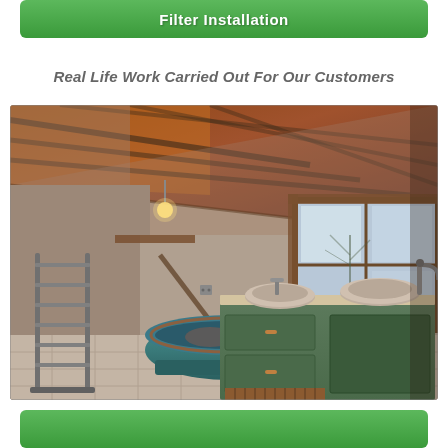Filter Installation
Real Life Work Carried Out For Our Customers
[Figure (photo): Interior bathroom photo showing a rustic attic-style bathroom with exposed wooden beams on a sloped ceiling, a freestanding turquoise/copper bathtub in the center, a green cabinet vanity with two stone vessel sinks and chrome faucets on the right, a metal towel rail ladder on the left, and a large window with a view of bare trees outside.]